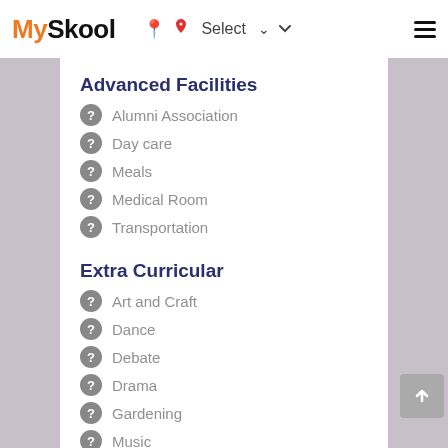MySkool — Select
Advanced Facilities
Alumni Association
Day care
Meals
Medical Room
Transportation
Extra Curricular
Art and Craft
Dance
Debate
Drama
Gardening
Music
Picnics and excursion